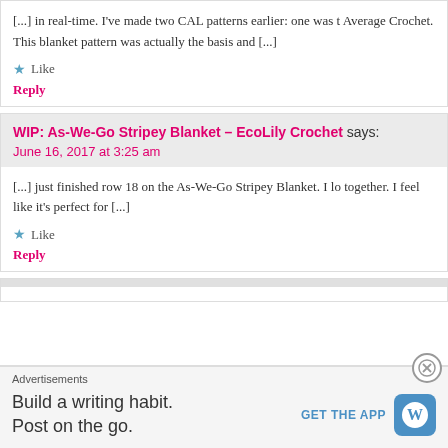[...] in real-time. I've made two CAL patterns earlier: one was Average Crochet. This blanket pattern was actually the basis and [...]
Like
Reply
WIP: As-We-Go Stripey Blanket – EcoLily Crochet says:
June 16, 2017 at 3:25 am
[...] just finished row 18 on the As-We-Go Stripey Blanket. I lo together. I feel like it's perfect for [...]
Like
Reply
Advertisements
Build a writing habit. Post on the go.
GET THE APP